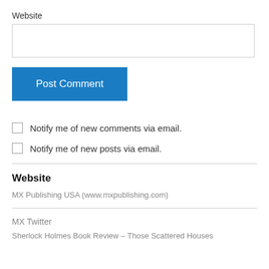Website
Post Comment
Notify me of new comments via email.
Notify me of new posts via email.
Website
MX Publishing USA (www.mxpublishing.com)
MX Twitter
Sherlock Holmes Book Review – Those Scattered Houses